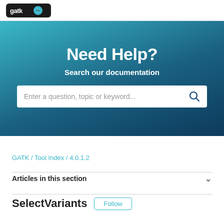[Figure (logo): GATK logo on dark background in top navigation bar]
Need Help?
Search our documentation
Enter a question, topic or keyword...
GATK / Tool Index / 4.0.1.2
Articles in this section
SelectVariants
Follow